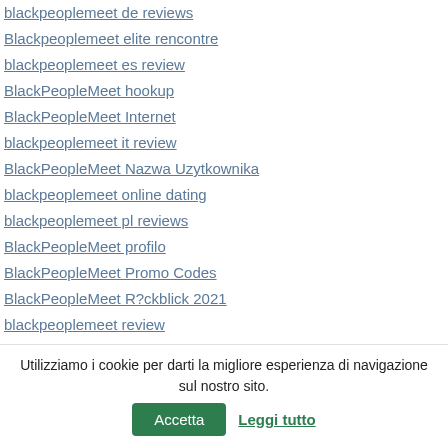blackpeoplemeet de reviews
Blackpeoplemeet elite rencontre
blackpeoplemeet es review
BlackPeopleMeet hookup
BlackPeopleMeet Internet
blackpeoplemeet it review
BlackPeopleMeet Nazwa Uzytkownika
blackpeoplemeet online dating
blackpeoplemeet pl reviews
BlackPeopleMeet profilo
BlackPeopleMeet Promo Codes
BlackPeopleMeet R?ckblick 2021
blackpeoplemeet review
blackpeoplemeet reviews
Blackpeoplemeet seite
blackpeoplemeet sign in
Utilizziamo i cookie per darti la migliore esperienza di navigazione sul nostro sito. Accetta Leggi tutto